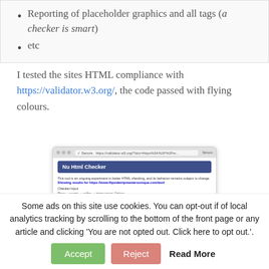Reporting of placeholder graphics and all tags (a checker is smart)
etc
I tested the sites HTML compliance with https://validator.w3.org/, the code passed with flying colours.
[Figure (screenshot): Screenshot of the Nu Html Checker at validator.w3.org showing results for a website URL, with checker input options visible.]
Some ads on this site use cookies. You can opt-out if of local analytics tracking by scrolling to the bottom of the front page or any article and clicking 'You are not opted out. Click here to opt out.'.